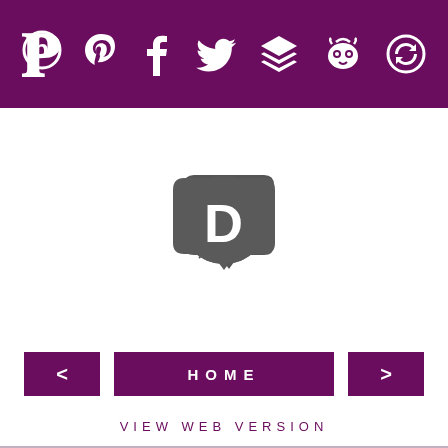Social media icons: Pinterest, Facebook, Twitter, Buffer, Hootsuite, Other
[Figure (logo): Disqus comment platform logo — speech bubble with letter D, dark grey]
< HOME >
VIEW WEB VERSION
© The Peculiar Treasure. Design by Albemarle PR